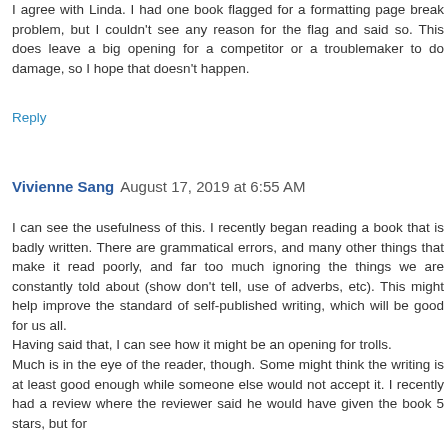I agree with Linda. I had one book flagged for a formatting page break problem, but I couldn't see any reason for the flag and said so. This does leave a big opening for a competitor or a troublemaker to do damage, so I hope that doesn't happen.
Reply
Vivienne Sang  August 17, 2019 at 6:55 AM
I can see the usefulness of this. I recently began reading a book that is badly written. There are grammatical errors, and many other things that make it read poorly, and far too much ignoring the things we are constantly told about (show don't tell, use of adverbs, etc). This might help improve the standard of self-published writing, which will be good for us all.
Having said that, I can see how it might be an opening for trolls.
Much is in the eye of the reader, though. Some might think the writing is at least good enough while someone else would not accept it. I recently had a review where the reviewer said he would have given the book 5 stars, but for